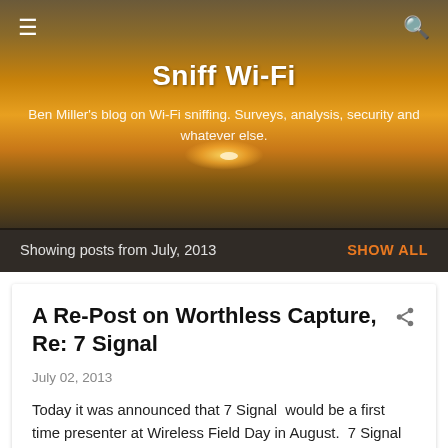[Figure (photo): Sunset/dusk sky background with orange and golden tones, silhouette of landscape at bottom, used as blog header image]
≡  [hamburger menu]    [search icon]
Sniff Wi-Fi
Ben Miller's blog on Wi-Fi sniffing. Surveys, analysis, security and whatever else.
Showing posts from July, 2013    SHOW ALL
A Re-Post on Worthless Capture, Re: 7 Signal
July 02, 2013
Today it was announced that 7 Signal  would be a first time presenter at Wireless Field Day in August.  7 Signal offers a product that uses distributed sensors that analyze a WLAN. Wait a moment.  This sounds familiar.  It was a mere